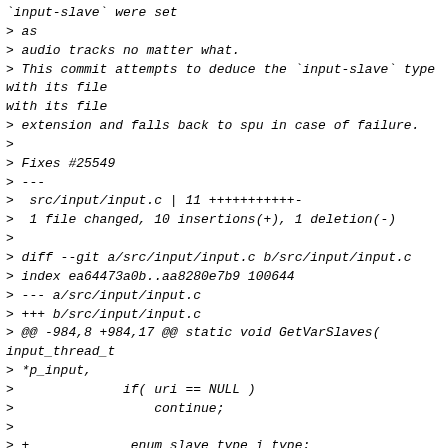`input-slave` were set
> as
> audio tracks no matter what.
> This commit attempts to deduce the `input-slave` type with its file
> extension and falls back to spu in case of failure.
>
> Fixes #25549
> ---
>  src/input/input.c | 11 +++++++++++-
>  1 file changed, 10 insertions(+), 1 deletion(-)
>
> diff --git a/src/input/input.c b/src/input/input.c
> index ea64473a0b..aa8280e7b9 100644
> --- a/src/input/input.c
> +++ b/src/input/input.c
> @@ -984,8 +984,17 @@ static void GetVarSlaves( input_thread_t
> *p_input,
>              if( uri == NULL )
>                  continue;
>
> +             enum slave_type i_type;
> +             if ( !input_item_slave_GetType(uri, &i_type)
)
> +             {
> +                 msg_Warn( p_input,
> +                           "Can't deduce slave type of `%s\":  falling back
> to spu.",